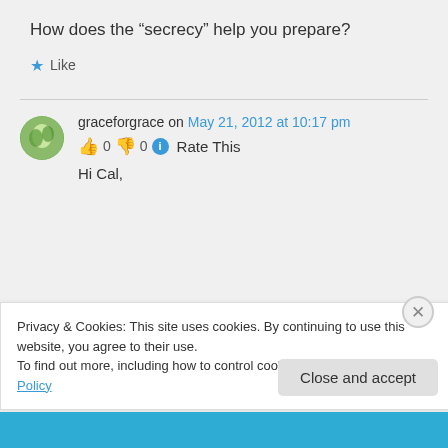How does the “secrecy” help you prepare?
★ Like
graceforgrace on May 21, 2012 at 10:17 pm
👍 0 👎 0 ⓘ Rate This
Hi Cal,
Privacy & Cookies: This site uses cookies. By continuing to use this website, you agree to their use.
To find out more, including how to control cookies, see here: Cookie Policy
Close and accept